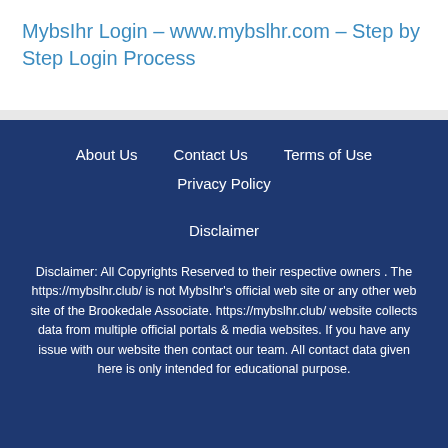MybsIhr Login – www.mybslhr.com – Step by Step Login Process
About Us   Contact Us   Terms of Use   Privacy Policy   Disclaimer
Disclaimer: All Copyrights Reserved to their respective owners . The https://mybslhr.club/ is not MybsIhr's official web site or any other web site of the Brookedale Associate. https://mybslhr.club/ website collects data from multiple official portals & media websites. If you have any issue with our website then contact our team. All contact data given here is only intended for educational purpose.